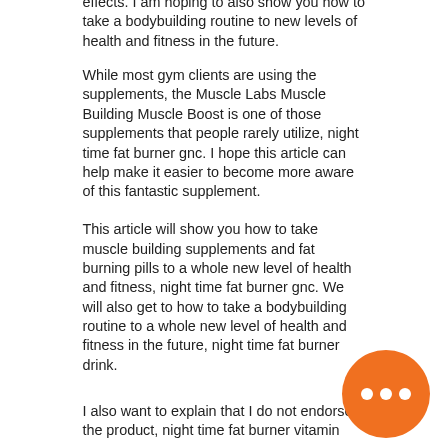effects. I am hoping to also show you how to take a bodybuilding routine to new levels of health and fitness in the future.
While most gym clients are using the supplements, the Muscle Labs Muscle Building Muscle Boost is one of those supplements that people rarely utilize, night time fat burner gnc. I hope this article can help make it easier to become more aware of this fantastic supplement.
This article will show you how to take muscle building supplements and fat burning pills to a whole new level of health and fitness, night time fat burner gnc. We will also get to how to take a bodybuilding routine to a whole new level of health and fitness in the future, night time fat burner drink.
I also want to explain that I do not endorse the product, night time fat burner vitamin